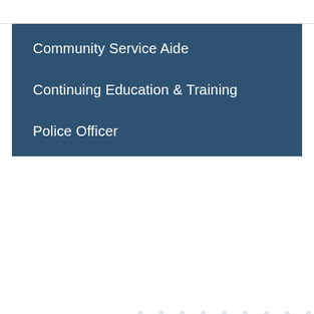Community Service Aide
Continuing Education & Training
Police Officer
[Figure (infographic): Two circular icons: CODE COMPLIANCE (dark circle with alarm bell icon) and COMMUNITY CRIME MAP (dark blue circle with person/location pin icon). Below are partially visible additional icons. A 'Questions?' speech bubble overlay appears near top right. A Google Translate 'Select Language' dropdown appears bottom left. Miramar city logo appears bottom right.]